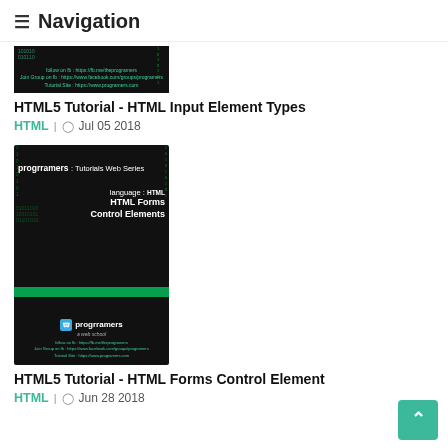≡ Navigation
[Figure (screenshot): Dark thumbnail image for HTML5 Tutorial with progrramers branding, showing follow on fb and tutorial site links in green text]
HTML5 Tutorial - HTML Input Element Types
HTML  |  🕐 Jul 05 2018
[Figure (screenshot): Dark thumbnail image for HTML Forms Control Elements tutorial with progrramers branding, green matrix background, showing language: HTML, HTML Forms Control Elements text]
HTML5 Tutorial - HTML Forms Control Element
HTML  |  🕐 Jun 28 2018